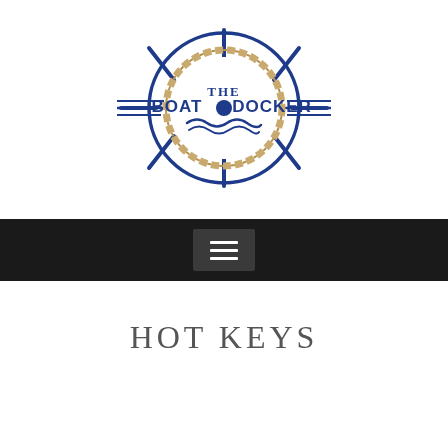[Figure (logo): The Boat Docker logo: a ship's wheel in navy blue with a rope-wrapped circle in the center containing the text 'THE' above and 'BOAT DOCKER' below, with horizontal lines extending left and right from the wheel center, and stylized water waves at the bottom of the circle.]
[Figure (other): Dark navigation bar with a hamburger menu button (three horizontal white lines on a dark gray button background) centered in a black bar.]
HOT KEYS